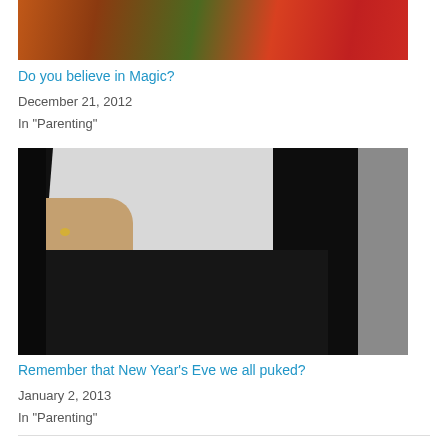[Figure (photo): Partial photo of colorful scene with orange fur/hair and red elements, cropped at top]
Do you believe in Magic?
December 21, 2012
In "Parenting"
[Figure (photo): Photo of a person wearing a white shirt tucked into black skirt/pants, hand with ring visible, black jacket on right side]
Remember that New Year’s Eve we all puked?
January 2, 2013
In "Parenting"